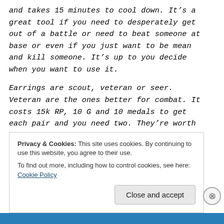and takes 15 minutes to cool down. It's a great tool if you need to desperately get out of a battle or need to beat someone at base or even if you just want to be mean and kill someone. It's up to you decide when you want to use it.

Earrings are scout, veteran or seer. Veteran are the ones better for combat. It costs 15k RP, 10 G and 10 medals to get each pair and you need two. They're worth
Privacy & Cookies: This site uses cookies. By continuing to use this website, you agree to their use.
To find out more, including how to control cookies, see here: Cookie Policy